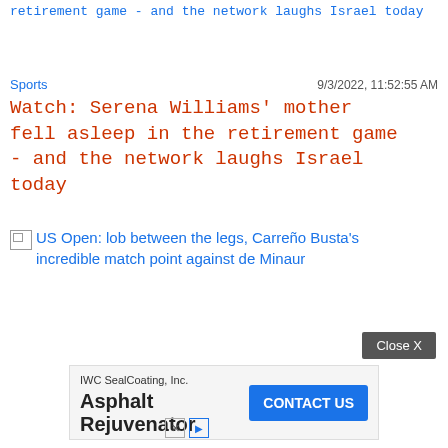retirement game - and the network laughs Israel today
Sports
9/3/2022, 11:52:55 AM
Watch: Serena Williams' mother fell asleep in the retirement game - and the network laughs Israel today
US Open: lob between the legs, Carreño Busta's incredible match point against de Minaur
Close X
[Figure (other): Advertisement banner for IWC SealCoating, Inc. Asphalt Rejuvenator with a CONTACT US button]